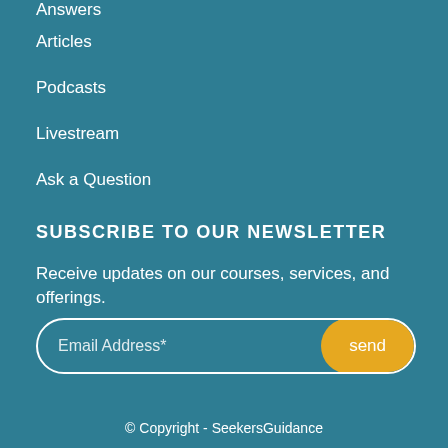Answers
Articles
Podcasts
Livestream
Ask a Question
SUBSCRIBE TO OUR NEWSLETTER
Receive updates on our courses, services, and offerings.
Email Address* send
© Copyright - SeekersGuidance